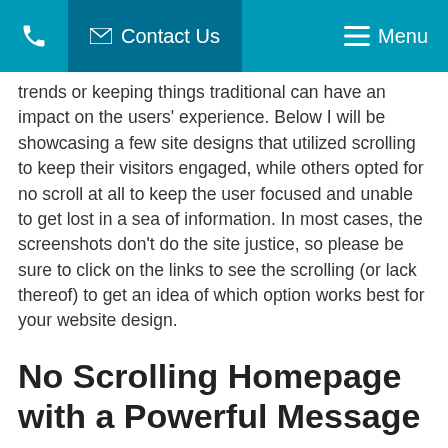Contact Us  Menu
trends or keeping things traditional can have an impact on the users' experience. Below I will be showcasing a few site designs that utilized scrolling to keep their visitors engaged, while others opted for no scroll at all to keep the user focused and unable to get lost in a sea of information. In most cases, the screenshots don't do the site justice, so please be sure to click on the links to see the scrolling (or lack thereof) to get an idea of which option works best for your website design.
No Scrolling Homepage with a Powerful Message
Sometimes, displaying powerful messages in a slider is the way to go. This option keeps the user focused on options to access their needs without searching and scrolling endlessly.